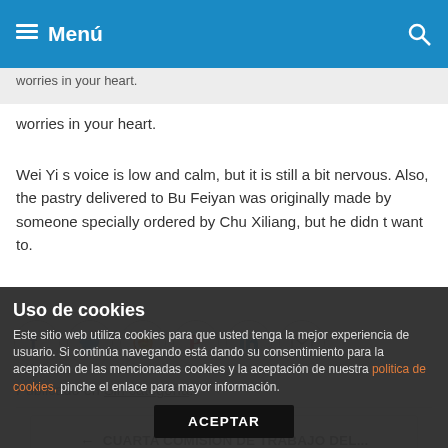Menú
worries in your heart.
Wei Yi s voice is low and calm, but it is still a bit nervous. Also, the pastry delivered to Bu Feiyan was originally made by someone specially ordered by Chu Xiliang, but he didn t want to.
[Figure (infographic): Social sharing icons for Facebook, Twitter, Reddit, Pinterest, LinkedIn, and Email]
Publicado en Sin categoría.
← CUARTA COMISIÓN DE TRABAJO DEL...
Uso de cookies
Este sitio web utiliza cookies para que usted tenga la mejor experiencia de usuario. Si continúa navegando está dando su consentimiento para la aceptación de las mencionadas cookies y la aceptación de nuestra politica de cookies, pinche el enlace para mayor información.
ACEPTAR